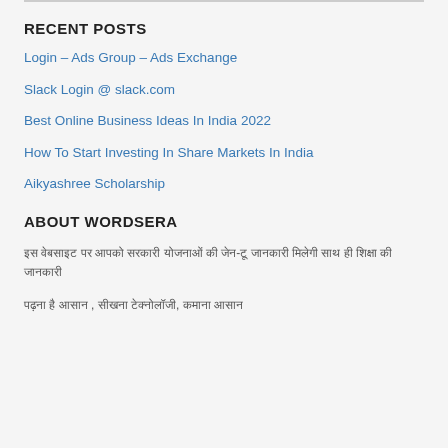RECENT POSTS
Login – Ads Group – Ads Exchange
Slack Login @ slack.com
Best Online Business Ideas In India 2022
How To Start Investing In Share Markets In India
Aikyashree Scholarship
ABOUT WORDSERA
इस वेबसाइट पर आपको सरकारी योजनाओं की जेन-टू जानकारी मिलेगी साथ ही शिक्षा की जानकारी
पढ़ना है आसान , सीखना टेक्नोलॉजी, कमाना आसान